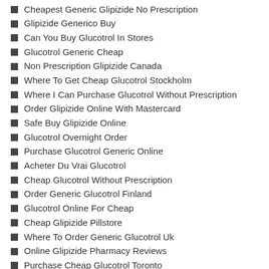Cheapest Generic Glipizide No Prescription
Glipizide Generico Buy
Can You Buy Glucotrol In Stores
Glucotrol Generic Cheap
Non Prescription Glipizide Canada
Where To Get Cheap Glucotrol Stockholm
Where I Can Purchase Glucotrol Without Prescription
Order Glipizide Online With Mastercard
Safe Buy Glipizide Online
Glucotrol Overnight Order
Purchase Glucotrol Generic Online
Acheter Du Vrai Glucotrol
Cheap Glucotrol Without Prescription
Order Generic Glucotrol Finland
Glucotrol Online For Cheap
Cheap Glipizide Pillstore
Where To Order Generic Glucotrol Uk
Online Glipizide Pharmacy Reviews
Purchase Cheap Glucotrol Toronto